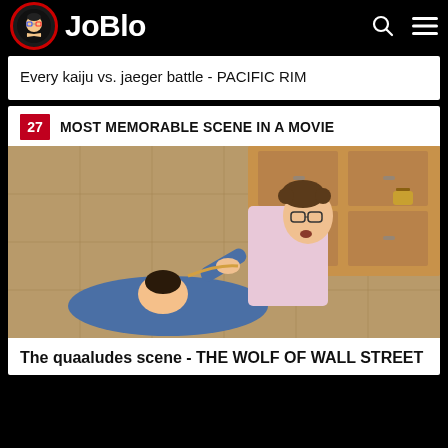JoBlo
Every kaiju vs. jaeger battle - PACIFIC RIM
27  MOST MEMORABLE SCENE IN A MOVIE
[Figure (photo): Two men fighting on a kitchen floor - scene from The Wolf of Wall Street]
The quaaludes scene - THE WOLF OF WALL STREET